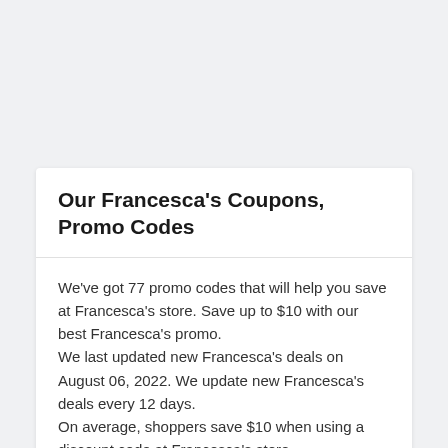Our Francesca's Coupons, Promo Codes
We've got 77 promo codes that will help you save at Francesca's store. Save up to $10 with our best Francesca's promo.
We last updated new Francesca's deals on August 06, 2022. We update new Francesca's deals every 12 days.
On average, shoppers save $10 when using a discount code at Francesca's store.